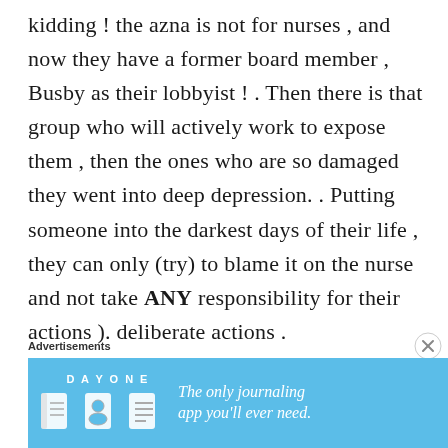kidding ! the azna is not for nurses , and now they have a former board member , Busby as their lobbyist ! . Then there is that group who will actively work to expose them , then the ones who are so damaged they went into deep depression. . Putting someone into the darkest days of their life , they can only (try) to blame it on the nurse and not take ANY responsibility for their actions ). deliberate actions .
Advertisements
[Figure (screenshot): Advertisement banner for Day One journaling app with blue background, app icons, and text 'The only journaling app you'll ever need.']